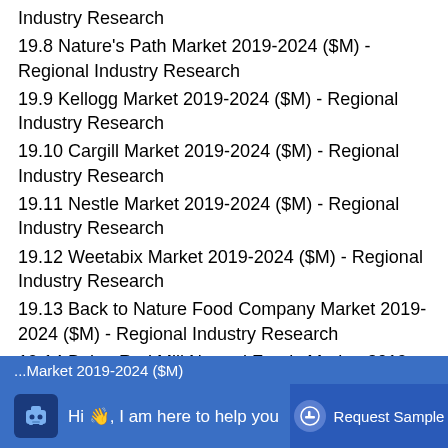Industry Research
19.8 Nature's Path Market 2019-2024 ($M) - Regional Industry Research
19.9 Kellogg Market 2019-2024 ($M) - Regional Industry Research
19.10 Cargill Market 2019-2024 ($M) - Regional Industry Research
19.11 Nestle Market 2019-2024 ($M) - Regional Industry Research
19.12 Weetabix Market 2019-2024 ($M) - Regional Industry Research
19.13 Back to Nature Food Company Market 2019-2024 ($M) - Regional Industry Research
19.14 Bob s Red Mill Natural Foods Market 2019-2024 ($M) - Regional Industry Research
...Market 2019-2024 ($M) - (partially visible)